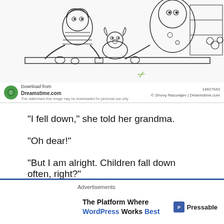[Figure (illustration): Black and white coloring page illustration showing cartoon children and a dog at a table with candies. Two children are leaning over a table looking at a small dog. There are candies scattered on the table. In the background there are bookshelves and flowers. The image has a Dreamstime.com watermark at the bottom.]
"I fell down," she told her grandma.
"Oh dear!"
"But I am alright. Children fall down often, right?"
Advertisements
The Platform Where WordPress Works Best